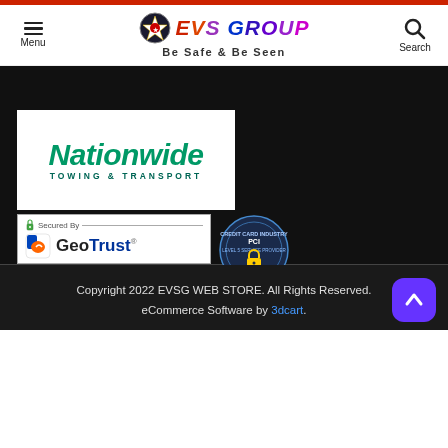EVS GROUP - Be Safe & Be Seen | Menu | Search
[Figure (screenshot): Black dark section background area with Nationwide Towing & Transport logo badge, GeoTrust Secured By badge, and PCI card industry security badge]
[Figure (logo): Nationwide Towing & Transport logo in white box with green italic text]
[Figure (logo): GeoTrust Secured By SSL certificate badge]
[Figure (logo): PCI Card Industry Level 5 Service Provider security badge circular logo]
Copyright 2022 EVSG WEB STORE. All Rights Reserved. eCommerce Software by 3dcart.